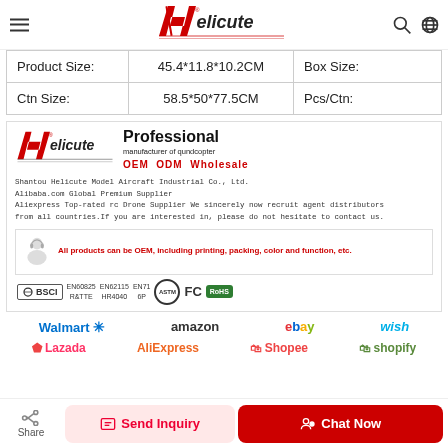Helicute logo header with hamburger menu, search and globe icons
| Product Size: | 45.4*11.8*10.2CM | Box Size: |
| --- | --- | --- |
| Ctn Size: | 58.5*50*77.5CM | Pcs/Ctn: |
[Figure (logo): Helicute company promotional block with logo, Professional manufacturer of quadcopter tagline, OEM ODM Wholesale, company name, Alibaba premium supplier info, certifications BSCI, EN60825, EN62115, EN71, ASTM, FC, RoHS badges]
[Figure (logo): Marketplace logos: Walmart, amazon, ebay, wish, Lazada, AliExpress, Shopee, shopify]
Share | Send Inquiry | Chat Now